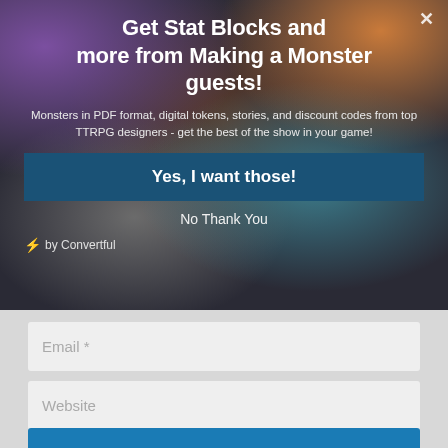Get Stat Blocks and more from Making a Monster guests!
Monsters in PDF format, digital tokens, stories, and discount codes from top TTRPG designers - get the best of the show in your game!
Yes, I want those!
No Thank You
⚡ by Convertful
Email *
Website